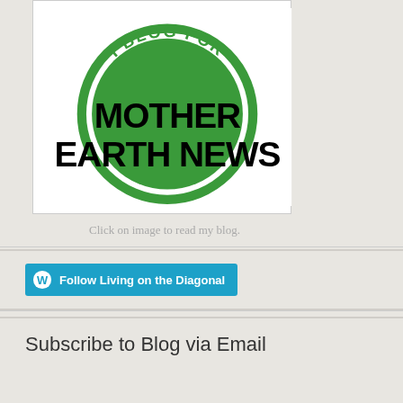[Figure (logo): I Blog For Mother Earth News badge — green circle with white border and bold black text reading MOTHER EARTH NEWS, green curved text at top reading I BLOG FOR]
Click on image to read my blog.
Follow Living on the Diagonal
Subscribe to Blog via Email